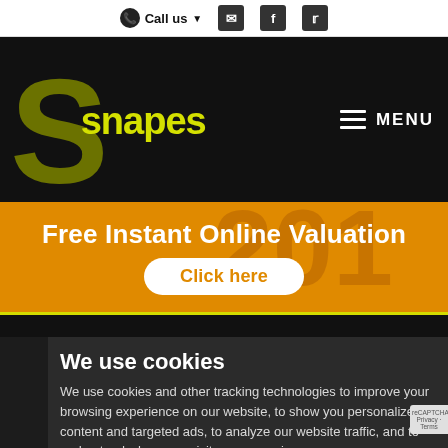Call us  [mail icon] [facebook icon] [twitter icon]
[Figure (logo): Snapes logo: large stylized S in yellow-green on black background with 'snapes' text in yellow, and MENU hamburger button on the right]
Free Instant Online Valuation
Click here
We use cookies
We use cookies and other tracking technologies to improve your browsing experience on our website, to show you personalized content and targeted ads, to analyze our website traffic, and to understand where our visitors are coming